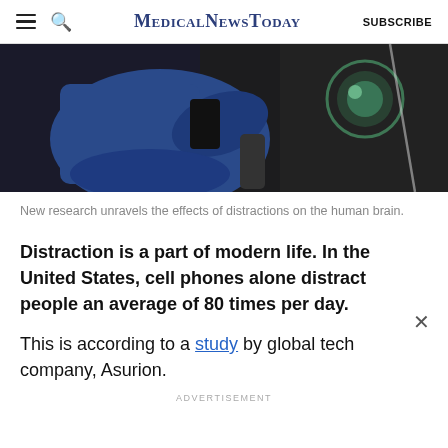MedicalNewsToday | SUBSCRIBE
[Figure (photo): Person in a car wearing blue clothing, holding or using a phone, shot from above. Dashboard visible in background with circular green light element.]
New research unravels the effects of distractions on the human brain.
Distraction is a part of modern life. In the United States, cell phones alone distract people an average of 80 times per day.
This is according to a study by global tech company, Asurion.
ADVERTISEMENT